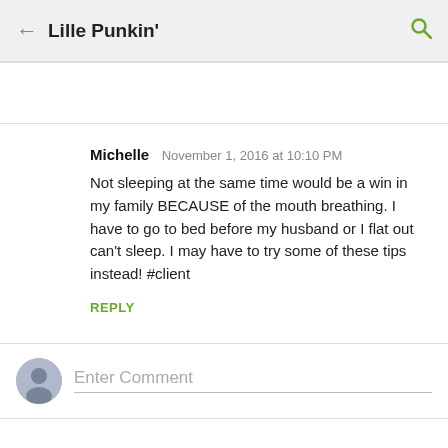← Lille Punkin' 🔍
Michelle  November 1, 2016 at 10:10 PM

Not sleeping at the same time would be a win in my family BECAUSE of the mouth breathing. I have to go to bed before my husband or I flat out can't sleep. I may have to try some of these tips instead! #client

REPLY
Enter Comment